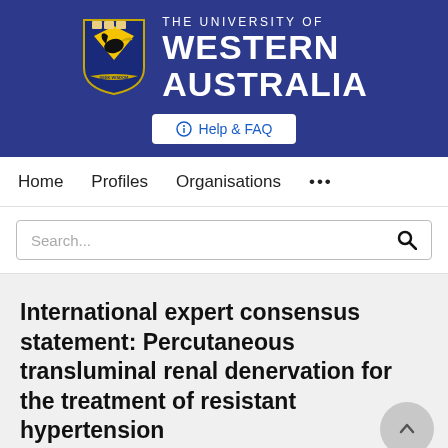[Figure (logo): University of Western Australia crest logo with blue shield, black swan, and gold diamond pattern, with 'SEEK WISDOM' motto banner]
THE UNIVERSITY OF WESTERN AUSTRALIA
Help & FAQ
Home   Profiles   Organisations   ...
Search...
International expert consensus statement: Percutaneous transluminal renal denervation for the treatment of resistant hypertension